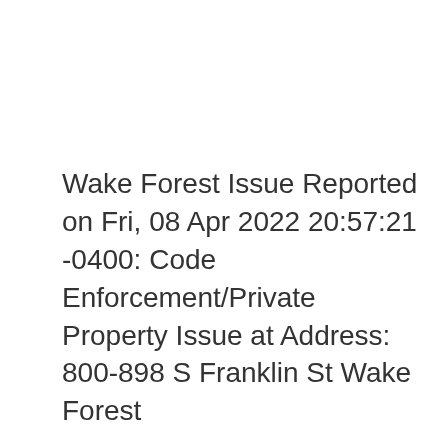Wake Forest Issue Reported on Fri, 08 Apr 2022 20:57:21 -0400: Code Enforcement/Private Property Issue at Address: 800-898 S Franklin St Wake Forest